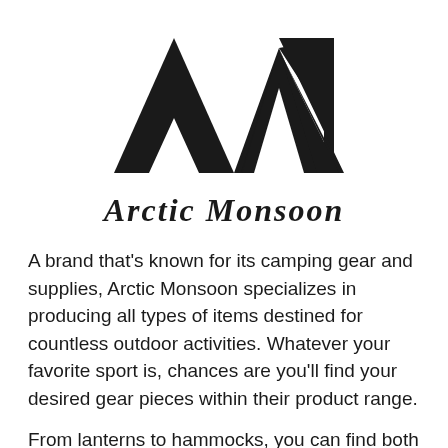[Figure (logo): Arctic Monsoon logo: two stylized mountain peak shapes (AM letterform) in dark/black above the text 'Arctic Monsoon' in a serif italic font]
A brand that's known for its camping gear and supplies, Arctic Monsoon specializes in producing all types of items destined for countless outdoor activities. Whatever your favorite sport is, chances are you'll find your desired gear pieces within their product range.
From lanterns to hammocks, you can find both items for relaxing at home or on a trip outside the city as well as sports gear for professional